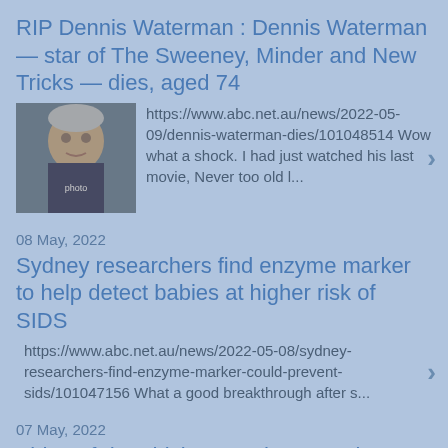RIP Dennis Waterman : Dennis Waterman — star of The Sweeney, Minder and New Tricks — dies, aged 74
[Figure (photo): Photo of Dennis Waterman, an elderly man in dark clothing]
https://www.abc.net.au/news/2022-05-09/dennis-waterman-dies/101048514 Wow what a shock. I had just watched his last movie, Never too old l...
08 May, 2022
Sydney researchers find enzyme marker to help detect babies at higher risk of SIDS
https://www.abc.net.au/news/2022-05-08/sydney-researchers-find-enzyme-marker-could-prevent-sids/101047156 What a good breakthrough after s...
07 May, 2022
Video of dog driving ute shows Jack Russell Lexie helping on